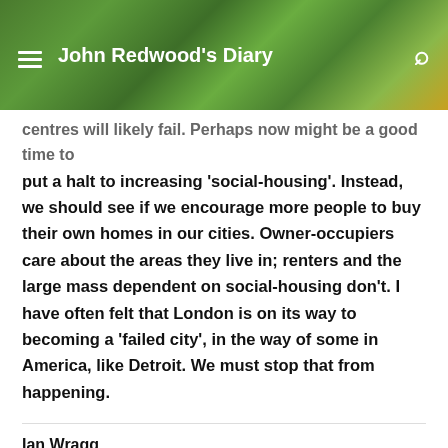John Redwood's Diary
centres will likely fail. Perhaps now might be a good time to put a halt to increasing 'social-housing'. Instead, we should see if we encourage more people to buy their own homes in our cities. Owner-occupiers care about the areas they live in; renters and the large mass dependent on social-housing don't. I have often felt that London is on its way to becoming a 'failed city', in the way of some in America, like Detroit. We must stop that from happening.
Ian Wragg
July 19, 2020
Especially in London which has the Mayor Khant. Virtue signalling to every minority cause and bankrupting Tfl. Allowing ER to take over the streets causing untold damage.